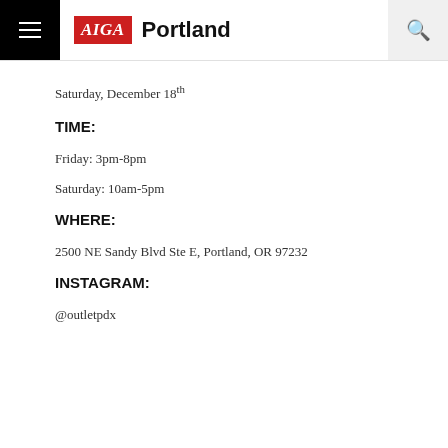AIGA Portland
Saturday, December 18th
TIME:
Friday: 3pm-8pm
Saturday: 10am-5pm
WHERE:
2500 NE Sandy Blvd Ste E, Portland, OR 97232
INSTAGRAM:
@outletpdx